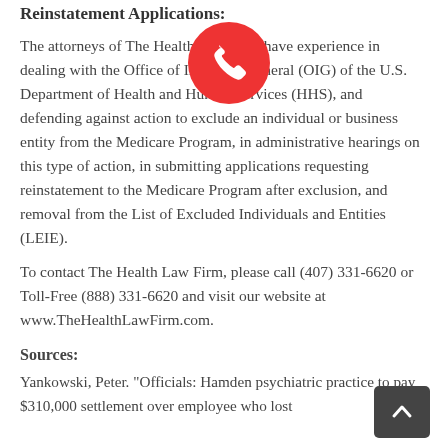Reinstatement Applications:
The attorneys of The Health Law Firm have experience in dealing with the Office of Inspector General (OIG) of the U.S. Department of Health and Human Services (HHS), and defending against action to exclude an individual or business entity from the Medicare Program, in administrative hearings on this type of action, in submitting applications requesting reinstatement to the Medicare Program after exclusion, and removal from the List of Excluded Individuals and Entities (LEIE).
To contact The Health Law Firm, please call (407) 331-6620 or Toll-Free (888) 331-6620 and visit our website at www.TheHealthLawFirm.com.
Sources:
Yankowski, Peter. "Officials: Hamden psychiatric practice to pay $310,000 settlement over employee who lost